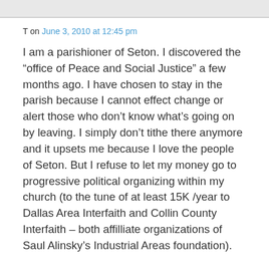T on June 3, 2010 at 12:45 pm
I am a parishioner of Seton. I discovered the “office of Peace and Social Justice” a few months ago. I have chosen to stay in the parish because I cannot effect change or alert those who don’t know what’s going on by leaving. I simply don’t tithe there anymore and it upsets me because I love the people of Seton. But I refuse to let my money go to progressive political organizing within my church (to the tune of at least 15K /year to Dallas Area Interfaith and Collin County Interfaith – both affilliate organizations of Saul Alinsky’s Industrial Areas foundation).